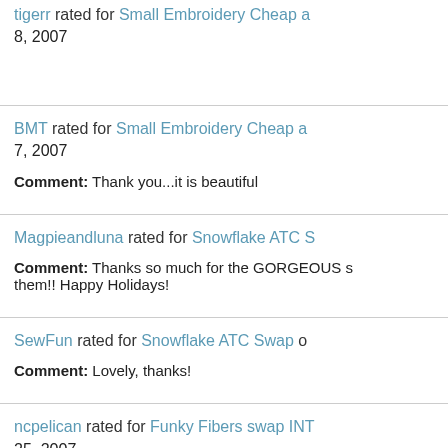tigerr rated for Small Embroidery Cheap a... 8, 2007
BMT rated for Small Embroidery Cheap a... 7, 2007
Comment: Thank you...it is beautiful
Magpieandluna rated for Snowflake ATC S...
Comment: Thanks so much for the GORGEOUS s... them!! Happy Holidays!
SewFun rated for Snowflake ATC Swap o...
Comment: Lovely, thanks!
ncpelican rated for Funky Fibers swap INT... 25, 2007